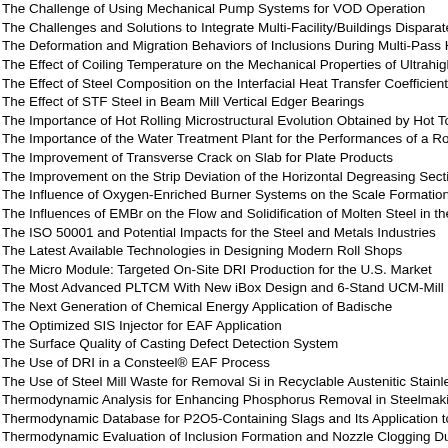The Challenge of Using Mechanical Pump Systems for VOD Operation
The Challenges and Solutions to Integrate Multi-Facility/Buildings Disparate Manage
The Deformation and Migration Behaviors of Inclusions During Multi-Pass Hot Rolling
The Effect of Coiling Temperature on the Mechanical Properties of Ultrahigh-Strength
The Effect of Steel Composition on the Interfacial Heat Transfer Coefficients for the S
The Effect of STF Steel in Beam Mill Vertical Edger Bearings
The Importance of Hot Rolling Microstructural Evolution Obtained by Hot Torsion Tes
The Importance of the Water Treatment Plant for the Performances of a Rolling Mill
The Improvement of Transverse Crack on Slab for Plate Products
The Improvement on the Strip Deviation of the Horizontal Degreasing Section of CAL
The Influence of Oxygen-Enriched Burner Systems on the Scale Formation of Steel A
The Influences of EMBr on the Flow and Solidification of Molten Steel in the CSP Mo
The ISO 50001 and Potential Impacts for the Steel and Metals Industries
The Latest Available Technologies in Designing Modern Roll Shops
The Micro Module: Targeted On-Site DRI Production for the U.S. Market
The Most Advanced PLTCM With New iBox Design and 6-Stand UCM-Mill For High-S
The Next Generation of Chemical Energy Application of Badische
The Optimized SIS Injector for EAF Application
The Surface Quality of Casting Defect Detection System
The Use of DRI in a Consteel® EAF Process
The Use of Steel Mill Waste for Removal Si in Recyclable Austenitic Stainless Steel
Thermodynamic Analysis for Enhancing Phosphorus Removal in Steelmaking
Thermodynamic Database for P2O5-Containing Slags and Its Application to the Dep
Thermodynamic Evaluation of Inclusion Formation and Nozzle Clogging During Slab
Thermodynamic Evaluation of the Slag System CaO-MgO-SiO2-Al2O3
Thermomechanical Processing Simulation of Mill Deformation of High Carbon Wire R
Three-Dimensional CFD-VOF Simulation of Interaction Between Top-Blown Oxygen
Three-Dimensional Determinations of the Non-Metallic Inclusions in Different Ferroal
Three-Stand PLTCM: Technology and Field Results From the Latest Danieli Cold R